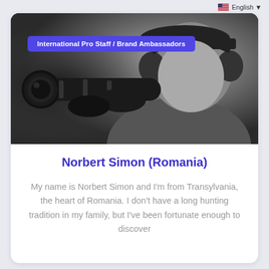English
[Figure (photo): Black and white photo of a man looking through a rifle scope with a cap and ear protection headphones, holding up a scoped rifle toward the camera]
International Pro Staff / Brand Ambassadors
Norbert Simon (Romania)
My name is Norbert Simon and I'm from Transylvania, the heart of Romania. I don't have a long hunting tradition in my family, but I've been fortunate enough to discover